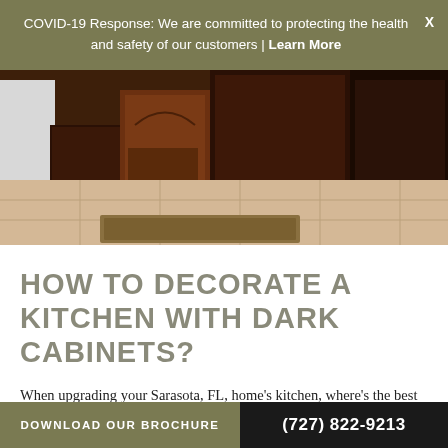COVID-19 Response: We are committed to protecting the health and safety of our customers | Learn More
[Figure (photo): Kitchen with dark wood cabinets and light tile floor with a small rug]
HOW TO DECORATE A KITCHEN WITH DARK CABINETS?
When upgrading your Sarasota, FL, home's kitchen, where's the best place to start? To ensure you get the most bang for your buck, consider investing in custom cabinets. As the most visible units in your kitchen, the cabinets can make or break the
DOWNLOAD OUR BROCHURE  (727) 822-9213